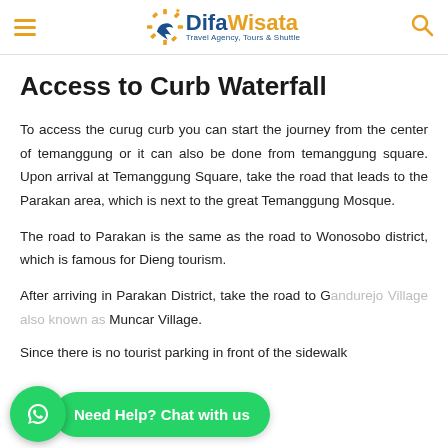DifaWisata - Travel Agency, Tours & Shuttle
Access to Curb Waterfall
To access the curug curb you can start the journey from the center of temanggung or it can also be done from temanggung square. Upon arrival at Temanggung Square, take the road that leads to the Parakan area, which is next to the great Temanggung Mosque.
The road to Parakan is the same as the road to Wonosobo district, which is famous for Dieng tourism.
After arriving in Parakan District, take the road to G... Muncar Village.
Since there is no tourist parking in front of the sidewalk...
[Figure (other): WhatsApp chat widget - green circle with WhatsApp icon and green pill button saying 'Need Help? Chat with us']